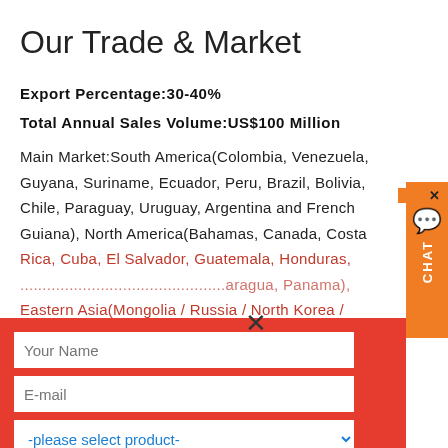Our Trade & Market
Export Percentage:30-40%
Total Annual Sales Volume:US$100 Million
Main Market:South America(Colombia, Venezuela, Guyana, Suriname, Ecuador, Peru, Brazil, Bolivia, Chile, Paraguay, Uruguay, Argentina and French Guiana), North America(Bahamas, Canada, Costa Rica, Cuba, El Salvador, Guatemala, Honduras, ... Nicaragua, Panama), Eastern Asia(Mongolia / Russia / North Korea / South Korea / Japan), Oceania(Australia, New ...), ... Bahrain, Egypt, Iran, Iraq, ... Lebanon, Oman, Qatar, ... and Yemen, Palestine, ... Libya, Morocco, Tunisia and Sudan,
[Figure (screenshot): A contact/inquiry form overlay on a red background with fields: Your Name, E-mail, product selector, capacity, More information button, and Submit button. There is also an X close button and a chat button on the right side.]